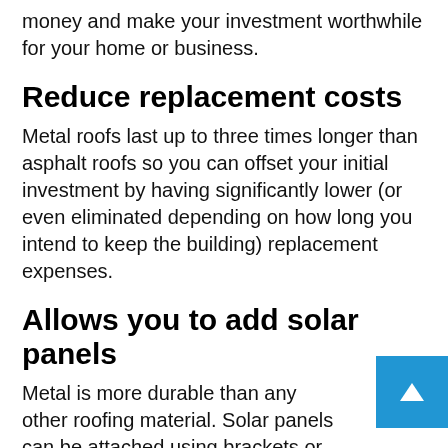money and make your investment worthwhile for your home or business.
Reduce replacement costs
Metal roofs last up to three times longer than asphalt roofs so you can offset your initial investment by having significantly lower (or even eliminated depending on how long you intend to keep the building) replacement expenses.
Allows you to add solar panels
Metal is more durable than any other roofing material. Solar panels can be attached using brackets or clamps with no holes and are easy install.